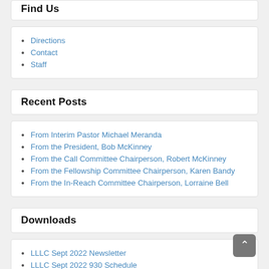Find Us
Directions
Contact
Staff
Recent Posts
From Interim Pastor Michael Meranda
From the President, Bob McKinney
From the Call Committee Chairperson, Robert McKinney
From the Fellowship Committee Chairperson, Karen Bandy
From the In-Reach Committee Chairperson, Lorraine Bell
Downloads
LLLC Sept 2022 Newsletter
LLLC Sept 2022 930 Schedule